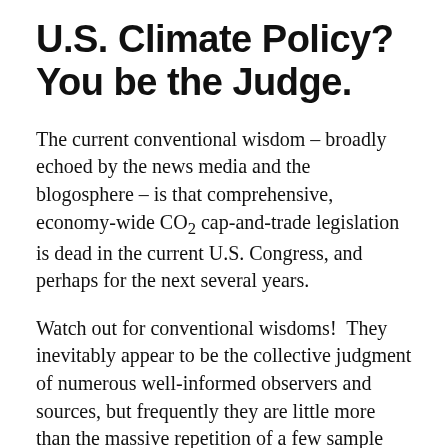U.S. Climate Policy? You be the Judge.
The current conventional wisdom – broadly echoed by the news media and the blogosphere – is that comprehensive, economy-wide CO₂ cap-and-trade legislation is dead in the current U.S. Congress, and perhaps for the next several years.
Watch out for conventional wisdoms!  They inevitably appear to be the collective judgment of numerous well-informed observers and sources, but frequently they are little more than the massive repetition of a few sample points of opinion across the echo-chamber of